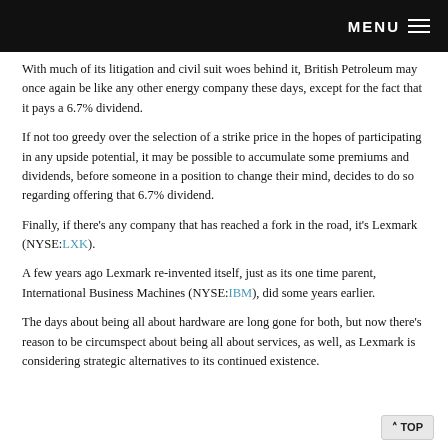MENU
With much of its litigation and civil suit woes behind it, British Petroleum may once again be like any other energy company these days, except for the fact that it pays a 6.7% dividend.
If not too greedy over the selection of a strike price in the hopes of participating in any upside potential, it may be possible to accumulate some premiums and dividends, before someone in a position to change their mind, decides to do so regarding offering that 6.7% dividend.
Finally, if there's any company that has reached a fork in the road, it's Lexmark (NYSE:LXK).
A few years ago Lexmark re-invented itself, just as its one time parent, International Business Machines (NYSE:IBM), did some years earlier.
The days about being all about hardware are long gone for both, but now there's reason to be circumspect about being all about services, as well, as Lexmark is considering strategic alternatives to its continued existence.